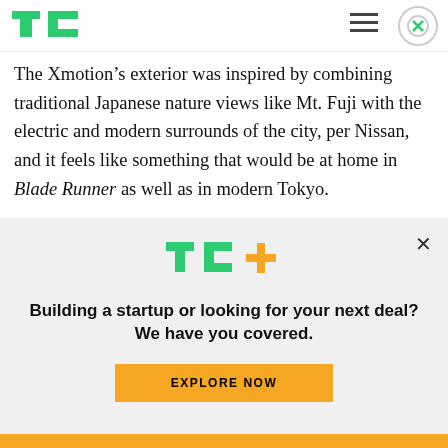TechCrunch logo, hamburger menu, close button
The Xmotion's exterior was inspired by combining traditional Japanese nature views like Mt. Fuji with the electric and modern surrounds of the city, per Nissan, and it feels like something that would be at home in Blade Runner as well as in modern Tokyo.
While the exterior is interesting, most of what's novel about this vehicle is happening on the inside.
[Figure (logo): TC+ logo with green TC and orange plus sign]
Building a startup or looking for your next deal? We have you covered.
EXPLORE NOW